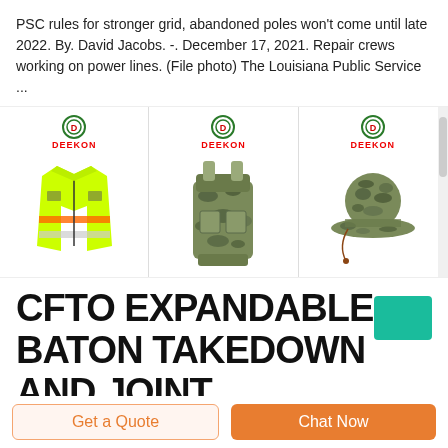PSC rules for stronger grid, abandoned poles won't come until late 2022. By. David Jacobs. -. December 17, 2021. Repair crews working on power lines. (File photo) The Louisiana Public Service ...
[Figure (photo): Three product listings from DEEKON brand: a bright yellow/green safety vest with orange reflective stripes, a camouflage military-style backpack, and a camouflage boonie hat. Each item shows the DEEKON logo (green circle with D, red DEEKON text) above. A scrollbar is visible on the right.]
CFTO EXPANDABLE BATON TAKEDOWN AND JOINT ...
Get a Quote
Chat Now